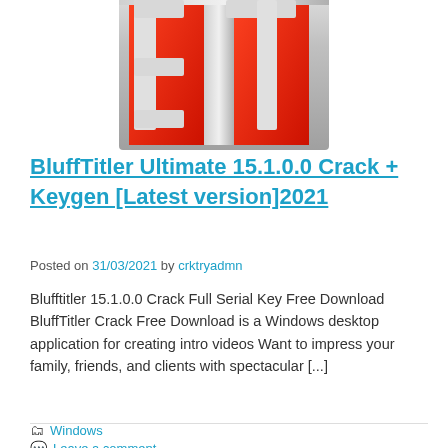[Figure (logo): BluffTitler software logo — red 3D letters on silver/metallic background, partially cropped at top]
BluffTitler Ultimate 15.1.0.0 Crack + Keygen [Latest version]2021
Posted on 31/03/2021 by crktryadmn
Blufftitler 15.1.0.0 Crack Full Serial Key Free Download BluffTitler Crack Free Download is a Windows desktop application for creating intro videos Want to impress your family, friends, and clients with spectacular [...]
READ MORE
Windows
Leave a comment